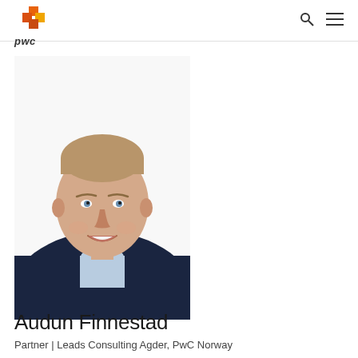[Figure (logo): PwC logo with orange/red stacked squares icon and 'pwc' text in dark italic font]
[Figure (photo): Professional headshot of Audun Finnestad, a middle-aged man with short hair wearing a dark navy blazer and light blue dress shirt, smiling, white background]
Audun Finnestad
Partner | Leads Consulting Agder, PwC Norway